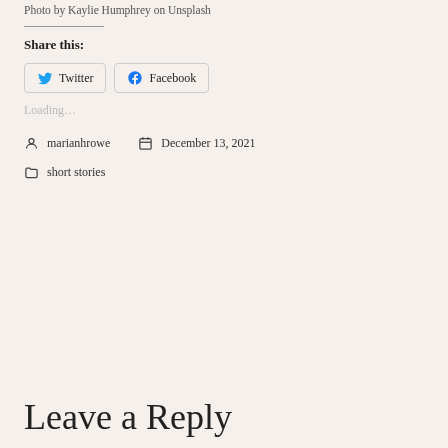Photo by Kaylie Humphrey on Unsplash
Share this:
Twitter   Facebook
Loading...
marianhrowe   December 13, 2021
short stories
Leave a Reply